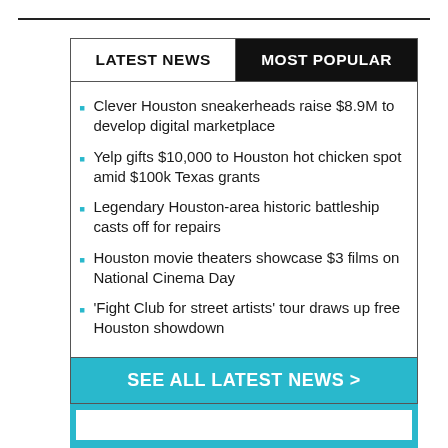LATEST NEWS | MOST POPULAR
Clever Houston sneakerheads raise $8.9M to develop digital marketplace
Yelp gifts $10,000 to Houston hot chicken spot amid $100k Texas grants
Legendary Houston-area historic battleship casts off for repairs
Houston movie theaters showcase $3 films on National Cinema Day
'Fight Club for street artists' tour draws up free Houston showdown
SEE ALL LATEST NEWS >